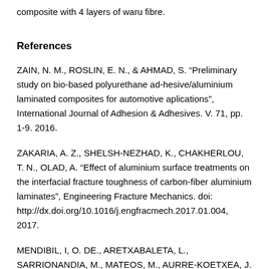composite with 4 layers of waru fibre.
References
ZAIN, N. M., ROSLIN, E. N., & AHMAD, S. “Preliminary study on bio-based polyurethane ad-hesive/aluminium laminated composites for automotive aplications”, International Journal of Adhesion & Adhesives. V. 71, pp. 1-9. 2016.
ZAKARIA, A. Z., SHELSH-NEZHAD, K., CHAKHERLOU, T. N., OLAD, A. “Effect of aluminium surface treatments on the interfacial fracture toughness of carbon-fiber aluminium laminates”, Engineering Fracture Mechanics. doi: http://dx.doi.org/10.1016/j.engfracmech.2017.01.004, 2017.
MENDIBIL, I, O. DE., ARETXABALETA, L., SARRIONANDIA, M., MATEOS, M., AURRE-KOETXEA, J. “Impact behaviour of